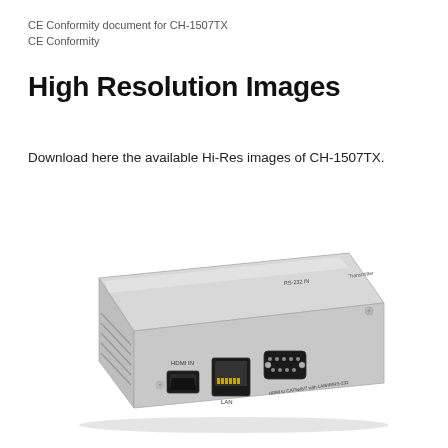CE Conformity document for CH-1507TX
CE Conformity
High Resolution Images
Download here the available Hi-Res images of CH-1507TX.
[Figure (photo): Photo of CH-1507TX device — a silver metal box HDMI to CAT5e/6/7 transmitter showing front/top panel with HDMI IN port, LAN port, RS-232 IN port, and ventilation slots on the left side.]